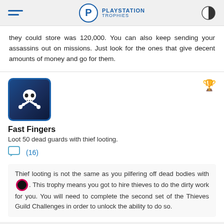PLAYSTATION TROPHIES
they could store was 120,000. You can also keep sending your assassins out on missions. Just look for the ones that give decent amounts of money and go for them.
[Figure (illustration): Trophy icon with skull and crossbones on dark blue background]
Fast Fingers
Loot 50 dead guards with thief looting.
(16)
Thief looting is not the same as you pilfering off dead bodies with [circle icon]. This trophy means you got to hire thieves to do the dirty work for you. You will need to complete the second set of the Thieves Guild Challenges in order to unlock the ability to do so.